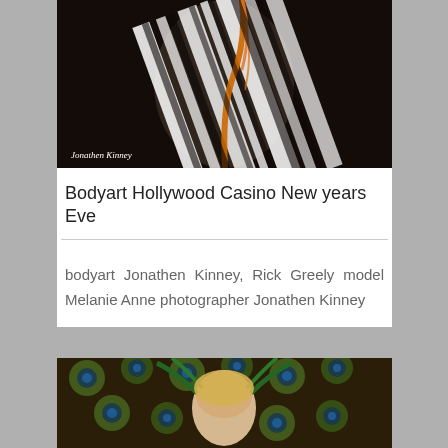[Figure (photo): Body art photo showing a person with zebra stripe body paint on a dark background, with a watermark reading 'Jonathen Kinney' in the lower left corner.]
Bodyart Hollywood Casino New years Eve
bodyart Jonathen Kinney, Rick Greely model Melanie Anne photographer Jonathen Kinney
[Figure (photo): Photo of a blonde woman surrounded by peacock feathers, with green body paint and feather headdress, shot from above.]